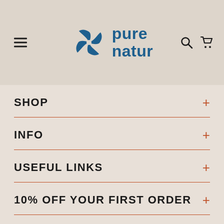[Figure (logo): Pure Natur logo with pinwheel graphic and text 'pure natur' in blue]
SHOP
INFO
USEFUL LINKS
10% OFF YOUR FIRST ORDER
[Figure (other): Instagram icon in orange rounded square]